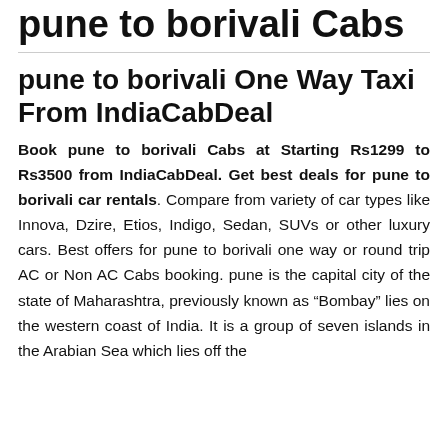pune to borivali Cabs
pune to borivali One Way Taxi From IndiaCabDeal
Book pune to borivali Cabs at Starting Rs1299 to Rs3500 from IndiaCabDeal. Get best deals for pune to borivali car rentals. Compare from variety of car types like Innova, Dzire, Etios, Indigo, Sedan, SUVs or other luxury cars. Best offers for pune to borivali one way or round trip AC or Non AC Cabs booking. pune is the capital city of the state of Maharashtra, previously known as “Bombay” lies on the western coast of India. It is a group of seven islands in the Arabian Sea which lies off the